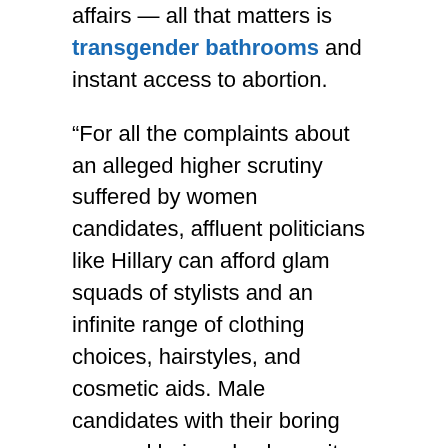affairs — all that matters is transgender bathrooms and instant access to abortion.
“For all the complaints about an alleged higher scrutiny suffered by women candidates, affluent politicians like Hillary can afford glam squads of stylists and an infinite range of clothing choices, hairstyles, and cosmetic aids. Male candidates with their boring cropped hair and sober suits fade into the woodwork when the queen bee flies in.
“The protective major media phalanx around Hillary certainly extends to her health issues, which only the Drudge Report has had the courage to flag. In assessing possible future occupants of the White House, the public has an inalienable right to know.
“And what about that persistent cough? ‘Allergy season,’ the hacking Hillary claimed on a New York radio show this week. (‘You all right? Any mouth to